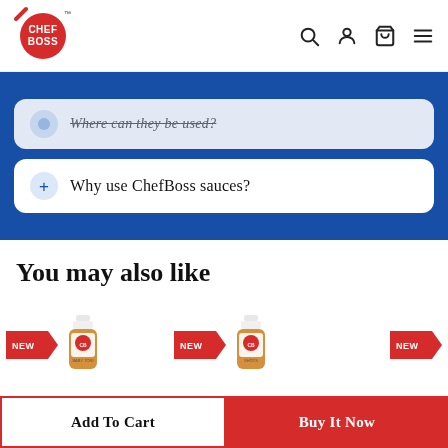ChefBoss — site header with logo and navigation icons (search, account, cart, menu)
Where can they be used?
+ Why use ChefBoss sauces?
You may also like
[Figure (photo): Three product items each labelled NEW with red arrow badges and ChefBoss sauce bottle images]
Add To Cart
Buy It Now